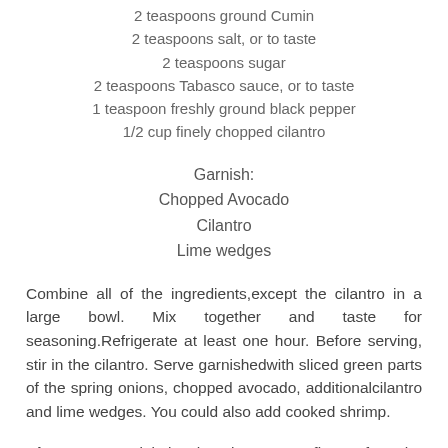2 teaspoons ground Cumin
2 teaspoons salt, or to taste
2 teaspoons sugar
2 teaspoons Tabasco sauce, or to taste
1 teaspoon freshly ground black pepper
1/2 cup finely chopped cilantro
Garnish:
Chopped Avocado
Cilantro
Lime wedges
Combine all of the ingredients,except the cilantro in a large bowl. Mix together and taste for seasoning.Refrigerate at least one hour. Before serving, stir in the cilantro. Serve garnishedwith sliced green parts of the spring onions, chopped avocado, additionalcilantro and lime wedges. You could also add cooked shrimp.
Hint: You can minimize the sting on your fingers from the chopping of the Jalapeno pepper by dripping the juice of lemon on your hands. Note to Self: Do not put contact lenses